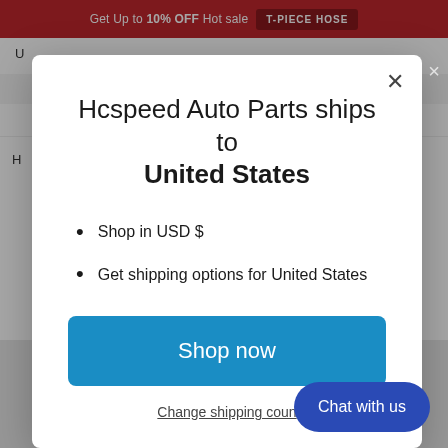Get Up to 10% OFF Hot sale T-PIECE HOSE
[Figure (screenshot): Hcspeed Auto Parts e-commerce website background showing navigation bar, filter controls, and partial product listing]
Hcspeed Auto Parts ships to United States
Shop in USD $
Get shipping options for United States
Shop now
Change shipping country
Chat with us